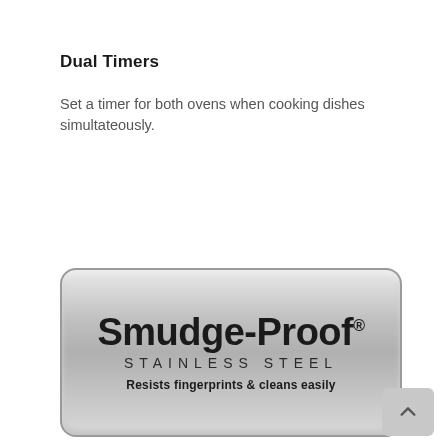Dual Timers
Set a timer for both ovens when cooking dishes simultateously.
[Figure (logo): Smudge-Proof Stainless Steel badge/logo — a rounded rectangle with metallic silver gradient background displaying 'Smudge-Proof' in large bold text, 'STAINLESS STEEL' in spaced uppercase below, and 'Resists fingerprints & cleans easily' in bold smaller text at the bottom.]